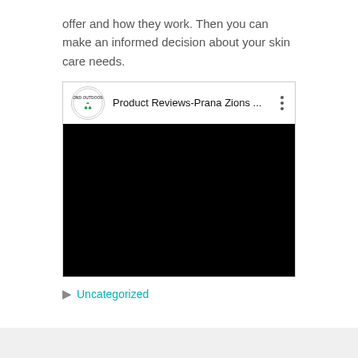offer and how they work. Then you can make an informed decision about your skin care needs.
[Figure (screenshot): Embedded YouTube video player showing a video titled 'Product Reviews-Prana Zions ...' with a circular channel logo for 'POND OUTDOORS' and a black video area.]
Uncategorized